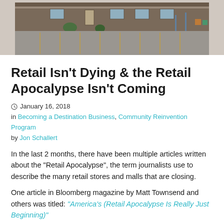[Figure (photo): Exterior photo of a retail building with empty parking lot, parking spaces visible with yellow stripes]
Retail Isn’t Dying & the Retail Apocalypse Isn’t Coming
January 16, 2018
in Becoming a Destination Business, Community Reinvention Program
by Jon Schallert
In the last 2 months, there have been multiple articles written about the “Retail Apocalypse”, the term journalists use to describe the many retail stores and malls that are closing.
One article in Bloomberg magazine by Matt Townsend and others was titled: “America’s (Retail Apocalypse Is Really Just Beginning)”